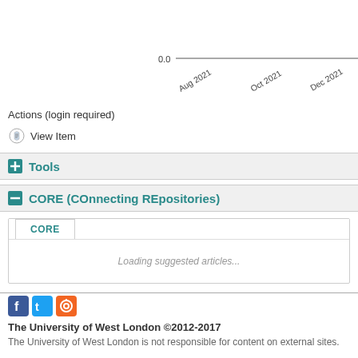[Figure (continuous-plot): Partial view of a line chart showing time axis from Aug 2021 to Apr 20XX with y-axis label 0.0 visible at bottom-left]
Actions (login required)
View Item
+ Tools
- CORE (COnnecting REpositories)
Loading suggested articles...
The University of West London ©2012-2017
The University of West London is not responsible for content on external sites.
International +44 (0)20 8231 2468
Locations West London campus in Ealing and Brentford, and the Berkshire Hub